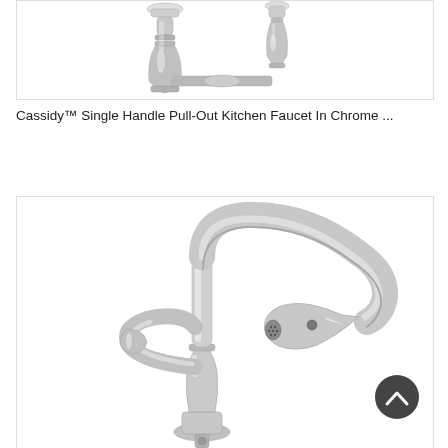[Figure (photo): Partial view of a chrome kitchen faucet with decorative handle, cropped at the top]
Cassidy™ Single Handle Pull-Out Kitchen Faucet In Chrome ...
[Figure (photo): Chrome pull-out kitchen faucet (Cassidy model) with arched neck and pull-out spray head, shown against white background. A dark circular scroll-to-top button is visible in the lower right corner.]